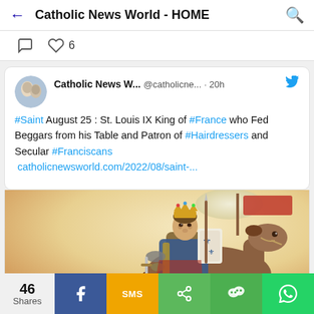Catholic News World - HOME
6
Catholic News W... @catholicne... · 20h
#Saint August 25 : St. Louis IX King of #France who Fed Beggars from his Table and Patron of #Hairdressers and Secular #Franciscans
catholicnewsworld.com/2022/08/saint-...
[Figure (illustration): Painting of St. Louis IX, King of France, wearing a crown and armor, riding a horse, holding a sword, with a banner/flag in the background]
46 Shares